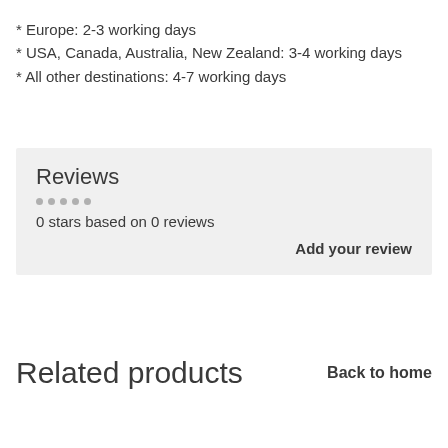* Europe: 2-3 working days
* USA, Canada, Australia, New Zealand: 3-4 working days
* All other destinations: 4-7 working days
Reviews
0 stars based on 0 reviews
Add your review
Related products
Back to home